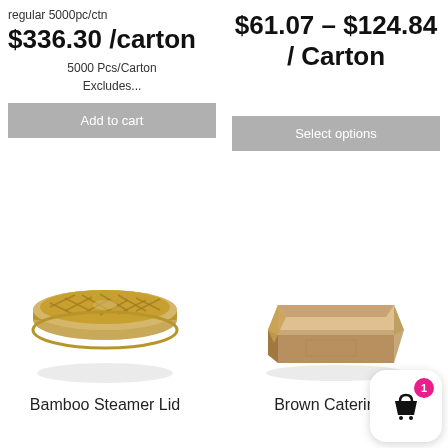regular 5000pc/ctn
$336.30 /carton
5000 Pcs/Carton Excludes...
Add to cart
$61.07 – $124.84 / Carton
Select options
[Figure (photo): Bamboo steamer lid, round woven bamboo tray with rim, top-down angled view]
Bamboo Steamer Lid
[Figure (photo): Brown cardboard catering tray box, open top rectangular box, angled view]
Brown Catering...